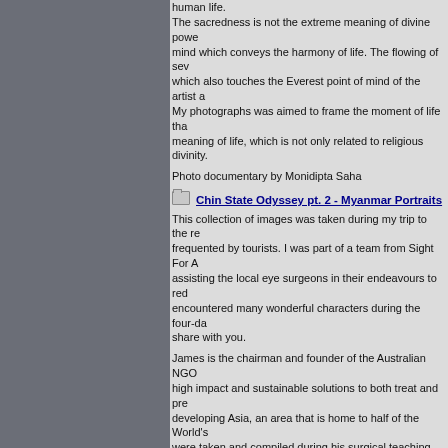human life. The sacredness is not the extreme meaning of divine power or godly presence but it is a state of mind which conveys the harmony of life. The flowing of seven sacred rivers from the Himalayas, which also touches the Everest point of mind of the artist and the viewer. My photographs was aimed to frame the moment of life that is sacred and which carries the meaning of life, which is not only related to religious divinity.
Photo documentary by Monidipta Saha
Chin State Odyssey pt. 2 - Myanmar Portraits
This collection of images was taken during my trip to the re... frequented by tourists. I was part of a team from Sight For A... assisting the local eye surgeons in their endeavours to red... encountered many wonderful characters during the four-da... share with you.
James is the chairman and founder of the Australian NGO ... high impact and sustainable solutions to both treat and pre... developing Asia, an area that is home to half of the World's... were taken and compiled during his surgical teaching trips ... Myanmar Program.
Photo documentary by Dr James Muecke.
Late, Long and Few : China (12)
This was a slogan which echoed throughout China in the e...
In an effort to curb population growth, families were encour... the number of years between children.
At this time, it was not exactly clear whether China's proble... the ill-effects of Mao's Great Leap Forward program. Either... having too many mouths to feed was easier than admitting...
What started out as a voluntary family planning program pr... fertility rate took a deep dive. However, the figures were sti... upon Mao's death in 1976, he inherited a country that was ... transform his China into an economic success story, and o...
By 1980, the One Child Policy in China was made mandato... years or one generation later, China is faced with another...